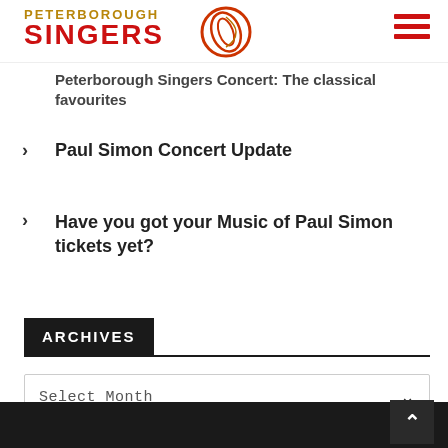PETERBOROUGH SINGERS
Peterborough Singers Concert: The classical favourites
Paul Simon Concert Update
Have you got your Music of Paul Simon tickets yet?
ARCHIVES
Select Month